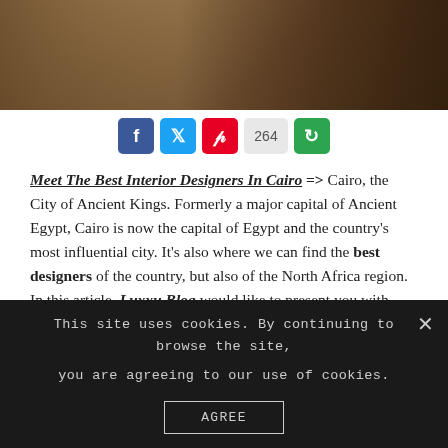[Figure (photo): Partial interior design photo showing luxury furniture and wooden paneling in warm tones]
Social share buttons: Facebook, Twitter, Pinterest, 264 shares, More Options
Meet The Best Interior Designers In Cairo => Cairo, the City of Ancient Kings. Formerly a major capital of Ancient Egypt, Cairo is now the capital of Egypt and the country's most influential city. It's also where we can find the best designers of the country, but also of the North Africa region. In this article, Luxxu Blog would like to present you with Interior Designers from Cairo that stand out due to their amazing designs.
See also: The Best Luxury Showrooms In Sharjah
This site uses cookies. By continuing to browse the site, you are agreeing to our use of cookies. AGREE